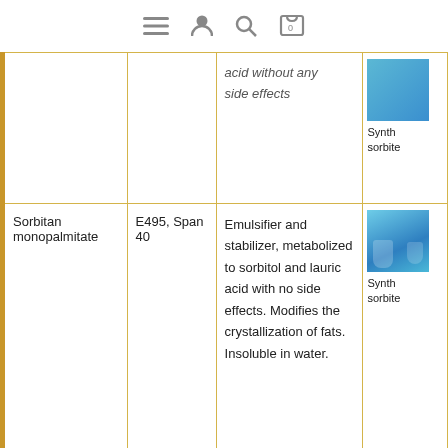Navigation bar with menu, user, search, and cart (0) icons
| Product | Also known as | Description | Image / Source |
| --- | --- | --- | --- |
|  |  | acid without any side effects | Synth... sorbite... |
| Sorbitan monopalmitate | E495, Span 40 | Emulsifier and stabilizer, metabolized to sorbitol and lauric acid with no side effects. Modifies the crystallization of fats. Insoluble in water. | Synth... sorbite... |